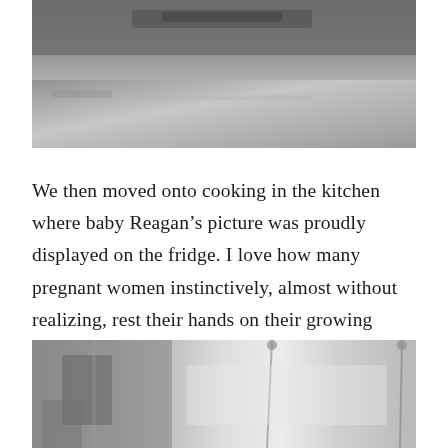[Figure (photo): Black and white photo showing hands (with a ring visible) holding what appears to be a knife or utensil over a textured surface, cropped to show only the top portion.]
We then moved onto cooking in the kitchen where baby Reagan's picture was proudly displayed on the fridge. I love how many pregnant women instinctively, almost without realizing, rest their hands on their growing bellies already connecting and protecting the little life within.
[Figure (photo): Black and white photo of a kitchen interior showing hanging pendant lights, shelving with items, and a chair visible on the left side. The bottom portion of the page shows the top of this photo.]